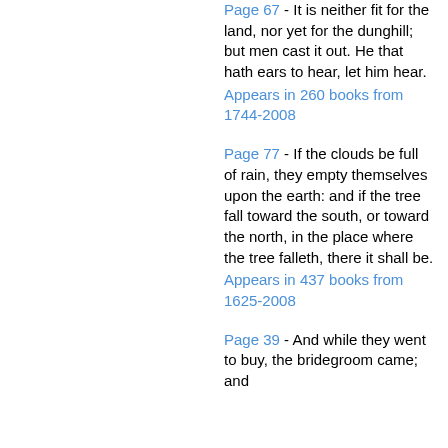Page 67 - It is neither fit for the land, nor yet for the dunghill; but men cast it out. He that hath ears to hear, let him hear. Appears in 260 books from 1744-2008
Page 77 - If the clouds be full of rain, they empty themselves upon the earth: and if the tree fall toward the south, or toward the north, in the place where the tree falleth, there it shall be. Appears in 437 books from 1625-2008
Page 39 - And while they went to buy, the bridegroom came; and